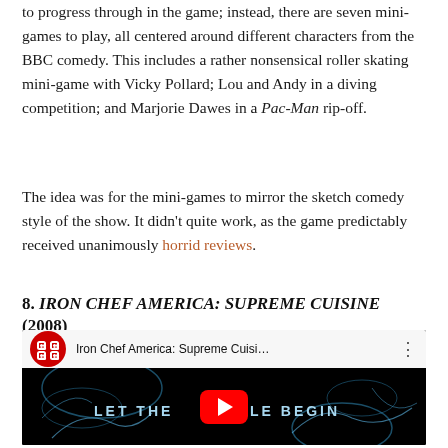to progress through in the game; instead, there are seven mini-games to play, all centered around different characters from the BBC comedy. This includes a rather nonsensical roller skating mini-game with Vicky Pollard; Lou and Andy in a diving competition; and Marjorie Dawes in a Pac-Man rip-off.
The idea was for the mini-games to mirror the sketch comedy style of the show. It didn't quite work, as the game predictably received unanimously horrid reviews.
8. IRON CHEF AMERICA: SUPREME CUISINE (2008)
[Figure (screenshot): YouTube video embed showing Iron Chef America: Supreme Cuisine trailer with play button. Dark background with blue smoke/light effects, text reading LET THE [BATTLE] BEGIN.]